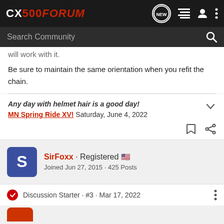CX500FORUM
will work with it.
Be sure to maintain the same orientation when you refit the chain.
Any day with helmet hair is a good day!
MN Spring Ride XV! Saturday, June 4, 2022
SirFoxx · Registered
Joined Jun 27, 2015 · 425 Posts
Discussion Starter · #3 · Mar 17, 2022